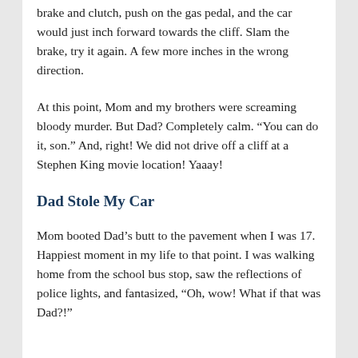brake and clutch, push on the gas pedal, and the car would just inch forward towards the cliff. Slam the brake, try it again. A few more inches in the wrong direction.
At this point, Mom and my brothers were screaming bloody murder. But Dad? Completely calm. “You can do it, son.” And, right! We did not drive off a cliff at a Stephen King movie location! Yaaay!
Dad Stole My Car
Mom booted Dad’s butt to the pavement when I was 17. Happiest moment in my life to that point. I was walking home from the school bus stop, saw the reflections of police lights, and fantasized, “Oh, wow! What if that was Dad?!”